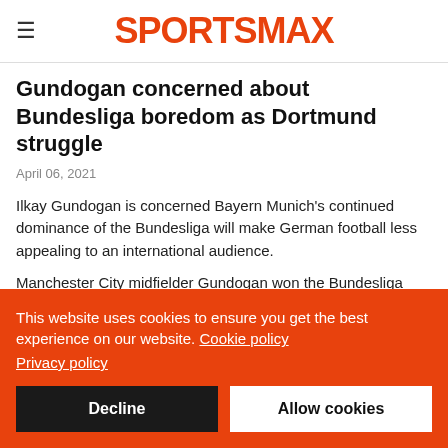SPORTSMAX
Gundogan concerned about Bundesliga boredom as Dortmund struggle
April 06, 2021
Ilkay Gundogan is concerned Bayern Munich's continued dominance of the Bundesliga will make German football less appealing to an international audience.
Manchester City midfielder Gundogan won the Bundesliga with Borussia Dortmund in 2012.
This website uses cookies to ensure you get the best experience on our website. Cookie policy Privacy policy
Decline
Allow cookies